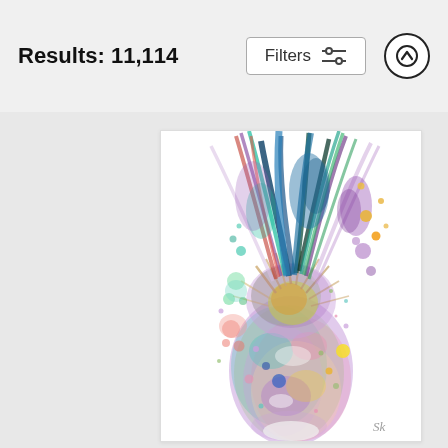Results: 11,114
[Figure (illustration): Colorful watercolor painting of a pineapple with splashes of purple, teal, pink, green, yellow, and blue watercolor paint. Artist initials 'SK' in bottom right corner.]